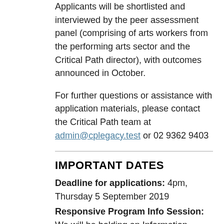Applicants will be shortlisted and interviewed by the peer assessment panel (comprising of arts workers from the performing arts sector and the Critical Path director), with outcomes announced in October.
For further questions or assistance with application materials, please contact the Critical Path team at admin@cplegacy.test or 02 9362 9403
IMPORTANT DATES
Deadline for applications: 4pm, Thursday 5 September 2019
Responsive Program Info Session: We will be holding an Information Session covering all